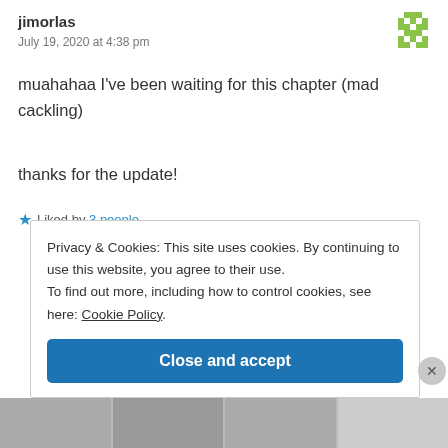jimorlas
July 19, 2020 at 4:38 pm
muahahaa I’ve been waiting for this chapter (mad cackling)
thanks for the update!
★ Liked by 3 people
Privacy & Cookies: This site uses cookies. By continuing to use this website, you agree to their use.
To find out more, including how to control cookies, see here: Cookie Policy
Close and accept